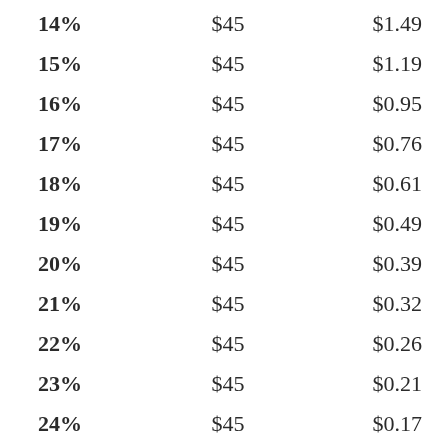| 14% | $45 | $1.49 |
| 15% | $45 | $1.19 |
| 16% | $45 | $0.95 |
| 17% | $45 | $0.76 |
| 18% | $45 | $0.61 |
| 19% | $45 | $0.49 |
| 20% | $45 | $0.39 |
| 21% | $45 | $0.32 |
| 22% | $45 | $0.26 |
| 23% | $45 | $0.21 |
| 24% | $45 | $0.17 |